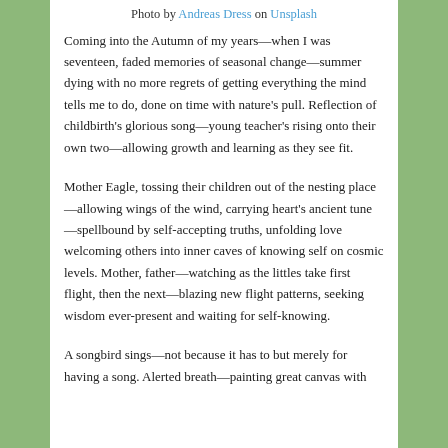Photo by Andreas Dress on Unsplash
Coming into the Autumn of my years—when I was seventeen, faded memories of seasonal change—summer dying with no more regrets of getting everything the mind tells me to do, done on time with nature's pull. Reflection of childbirth's glorious song—young teacher's rising onto their own two—allowing growth and learning as they see fit.
Mother Eagle, tossing their children out of the nesting place—allowing wings of the wind, carrying heart's ancient tune—spellbound by self-accepting truths, unfolding love welcoming others into inner caves of knowing self on cosmic levels. Mother, father—watching as the littles take first flight, then the next—blazing new flight patterns, seeking wisdom ever-present and waiting for self-knowing.
A songbird sings—not because it has to but merely for having a song. Alerted breath—painting great canvas with